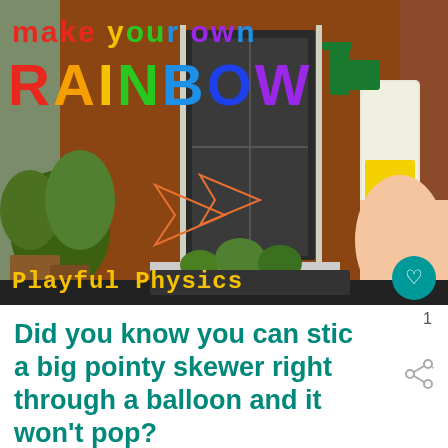[Figure (photo): Photo of a brick house doorway with plants and garden, with rainbow-colored text overlay reading 'make your own RAINBOW' and 'Playful Physics', and a person's hand holding a spray bottle on the right side. Decorative arrows drawn on the image.]
Did you know you can stick a big pointy skewer right through a balloon and it won't pop?